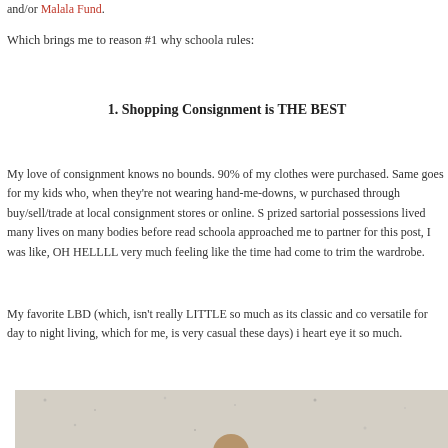and/or Malala Fund.
Which brings me to reason #1 why schoola rules:
1. Shopping Consignment is THE BEST
My love of consignment knows no bounds. 90% of my clothes were purchased through buy/sell/trade at local consignment stores or online. Same goes for my kids who, when they're not wearing hand-me-downs, were purchased through buy/sell/trade at local consignment stores or online. So my most prized sartorial possessions lived many lives on many bodies before reaching mine. When schoola approached me to partner for this post, I was like, OH HELLLLLL YES because I was very much feeling like the time had come to trim the wardrobe.
My favorite LBD (which, isn't really LITTLE so much as its classic and completely versatile for day to night living, which for me, is very casual these days) is schoola and I heart eye it so much.
[Figure (photo): A photo showing a person, partially cropped, on a light speckled background]